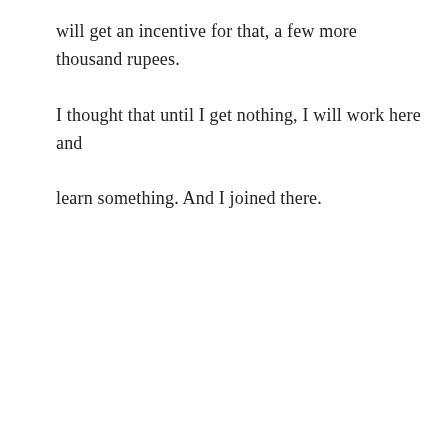will get an incentive for that, a few more thousand rupees. I thought that until I get nothing, I will work here and learn something. And I joined there.